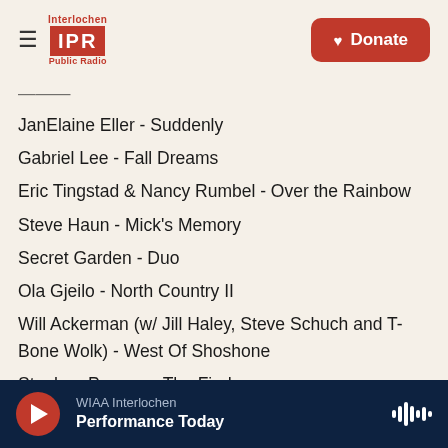Interlochen IPR Public Radio | Donate
JanElaine Eller - Suddenly
Gabriel Lee - Fall Dreams
Eric Tingstad & Nancy Rumbel - Over the Rainbow
Steve Haun - Mick's Memory
Secret Garden - Duo
Ola Gjeilo - North Country II
Will Ackerman (w/ Jill Haley, Steve Schuch and T-Bone Wolk) - West Of Shoshone
Stephen Peppos - The Find
Marc Enfroy - Night on the Seine
V/A: Tim Wheater - Reverence
John Boswell - Whispers
WIAA Interlochen — Performance Today